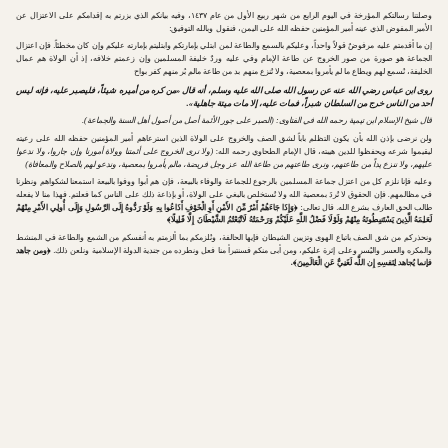وصلتنا رسالتكم المؤرخة في اليوم الرابع من شهر ربيع الأول من عام ١٤٣٧، وفيه بيانكم الذي بزرتم به إقدامكم على الاعتزال عن الأمير المفوض الذي عينه أمير المؤمنين حفظه الله على اليمن، فنقول وبالله التوفيق:
إن ما أقدمتم عليه مرفوضٌ قولاً واحداً، وعليكم بالسمع والطاعة لمن ابتلي بإمارتكم وابتليتم بإمارته عليكم وإن كان مخطئاً. فإن اعتزال الجماعة هو صورة من صور الخروج عن طاعة الإمام وفي عليه وردٌ خليفة المسلمين وإن زعمتم خلافه، إذ أن الولاة هم عمال الخليفة، نُسمع لهم ويطاع ما لم يأمروا بمعصية، ولا تُنزع منهم بد من طاعة مالم بُر منهم كفر بواح
روى ابن عباس رضي الله عنه عن رسول الله صلى الله عليه وسلم، أنه قال «من كره من أميره شيئاً، فليصبر عليه، فإنه ليس أحد من الناس خرج من السلطان شبراً، فمات عليه، إلا مات ميتة جاهلية».
قال شيخ الإسلام ابن تيمية رحمه الله في الفتاوى: (الصبر على جور الأئمة أصل من أصول أهل السنة والجماعة).
ولن نرضى بإذن الله بأن يكون التظلم باباً لشق الصف والخروج على الولاة الذين استرعاهم أمير المؤمنين حفظه الله على رعيته ليقيموا شرعه ويحفظوا للدين هيبته، قال الإمام الطحاوي رحمه الله: (ولا نرى الخروج على أئمتنا وولاة أمورنا وإن جاروا، ولا ندعوا عليهم، ولا ننزع يداً من طاعتهم، ونرى طاعتهم من طاعة الله عز وجل فريضة، مالم يأمروا بمعصية، وندعو لهم بالصلاح والمعافاة)
وعليه فإنا نلزم كل من اعتزل جماعة المسلمين بالرجوع للجماعة والوفاء بالبيعة، فإن هم أبوا ووفوا بالبيعة استمعنا لشكواهم ونظرنا في مظالمهم. فإن الحقوق لا تُردَ بمعصية الله ولا تُستخلص بالبغي على الولاة، أو بإذاعة ذلك على الناس كما فعلتم. فهذا منا لا يفعله طالب الحق العارف بشرع الله. قال تعالى: ﴿وَإِذَا جَاءَهُمْ أَمْرٌ مِّنَ الأَمْنِ أَوِ الْخَوْفِ أَذَاعُوا بِهِ وَلَوْ رَدُّوهُ إِلَى الرَّسُولِ وَإِلَى أُولِي الأَمْرِ مِنْهُمْ لَعَلِمَهُ الَّذِينَ يَسْتَنبِطُونَهُ مِنْهُمْ وَلَوْلَا فَضْلُ اللَّهِ عَلَيْكُمْ وَرَحْمَتُهُ لَاتَّبَعْتُمُ الشَّيْطَانَ إِلَّا قَلِيلًا﴾
ونحذركم من شق الصف باتباع الهوى وتزيين الشيطان فإيها الحالفة، ونُلزمكم بما ألزمتم به أنفسكم من الشمع والطاعة في المنشط والمكره والعسر واليُسر وعلى إثرة عليكم، ومن أبى منكم فسنتبرأ منا فعل ونطرده من جندية الدولة الإسلامية ونلعن ذلك. ﴿ومن جاهد فإنما يُجاهد لِنَفسِهِ إِن اللَّه لَغَنِيٌّ عَنِ الْعَالَمِينَ﴾.